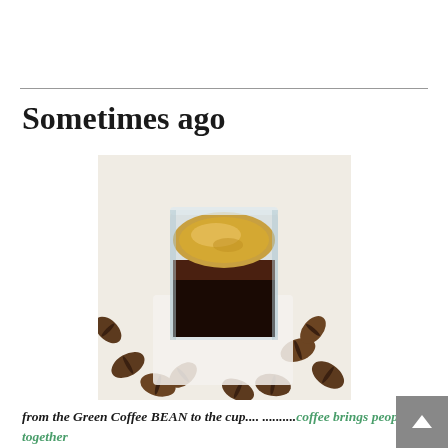Sometimes ago
[Figure (photo): A glass cup of espresso coffee with golden crema on top, surrounded by scattered coffee beans on a white background.]
from the Green Coffee BEAN to the cup.... ..........coffee brings people together
My name is Alfio, I am an Italian in Belgium with the passion of coffee, specialty coffee, and developing all is necessary for to get "THE perfect CUP"  !!!!
In 1984 , some how like in Orwell book just finish the high school, I start university,  wanted to open a coffee bar, wanted to build